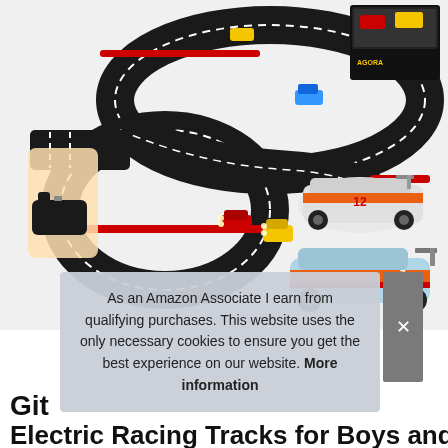[Figure (photo): Product photo of an electric slot car racing track set with figure-8 shaped track layout, hand holding a controller, two small racing cars on the track with LED headlights, and additional car models shown on the right side — a white/orange #12 car and a light blue/orange Le Mans style car. A product box is visible in the top right corner.]
As an Amazon Associate I earn from qualifying purchases. This website uses the only necessary cookies to ensure you get the best experience on our website. More information
Git
Electric Racing Tracks for Boys and